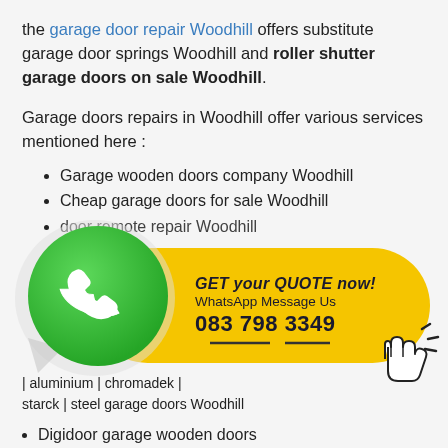the garage door repair Woodhill offers substitute garage door springs Woodhill and roller shutter garage doors on sale Woodhill.
Garage doors repairs in Woodhill offer various services mentioned here :
Garage wooden doors company Woodhill
Cheap garage doors for sale Woodhill
door remote repair Woodhill
hill
[Figure (infographic): WhatsApp call-to-action banner with green WhatsApp icon on left, yellow pill-shaped badge with text 'GET your QUOTE now! WhatsApp Message Us 083 798 3349', and a cursor/hand click icon on the right.]
| aluminium | chromadek | starck | steel garage doors Woodhill
Digidoor garage wooden doors